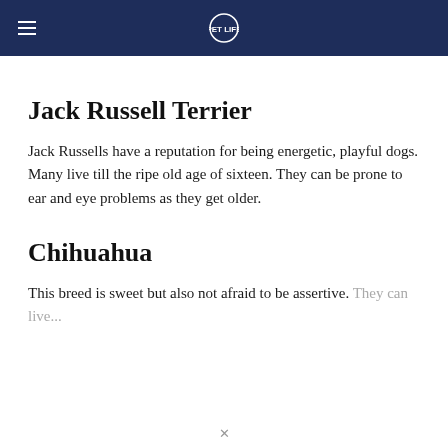Jack Russell Terrier
Jack Russells have a reputation for being energetic, playful dogs. Many live till the ripe old age of sixteen. They can be prone to ear and eye problems as they get older.
Chihuahua
This breed is sweet but also not afraid to be assertive. They can live...